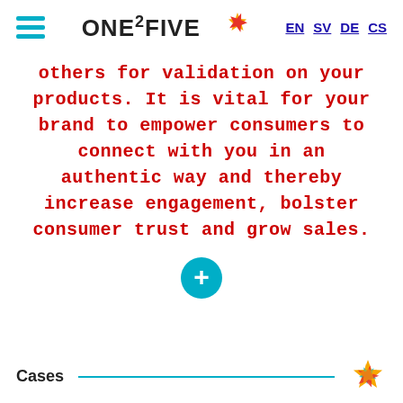ONE2FIVE — EN SV DE CS
others for validation on your products. It is vital for your brand to empower consumers to connect with you in an authentic way and thereby increase engagement, bolster consumer trust and grow sales.
[Figure (other): Teal circular button with a white plus sign in the center]
Cases
Our References